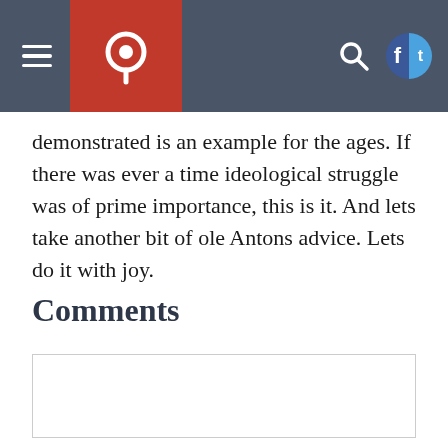[Navigation header with menu, logo, search, and social icons]
demonstrated is an example for the ages. If there was ever a time ideological struggle was of prime importance, this is it. And lets take another bit of ole Antons advice. Lets do it with joy.
Comments
[Figure (other): Empty comment input text area box]